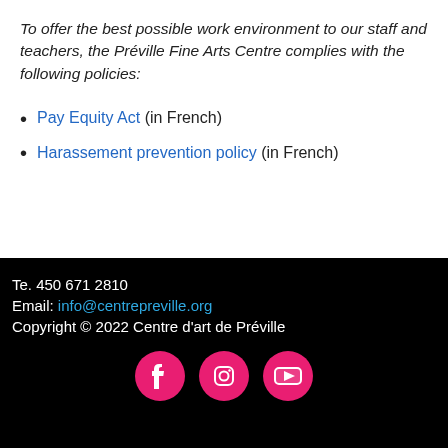To offer the best possible work environment to our staff and teachers, the Préville Fine Arts Centre complies with the following policies:
Pay Equity Act (in French)
Harassement prevention policy (in French)
Te. 450 671 2810
Email: info@centrepreville.org
Copyright © 2022 Centre d'art de Préville